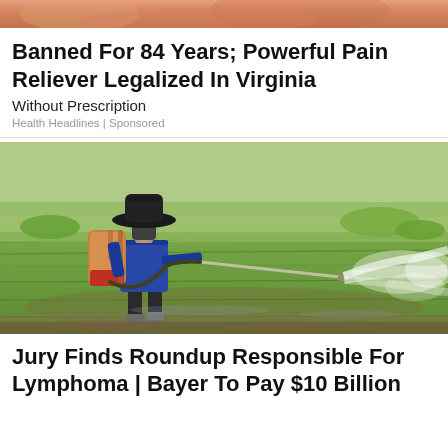[Figure (photo): Close-up photo of human skin, cropped at top of page]
Banned For 84 Years; Powerful Pain Reliever Legalized In Virginia
Without Prescription
Health Headlines | Sponsored
[Figure (photo): A farmer wearing a wide-brimmed hat and a blue long-sleeve shirt, carrying a motorized pesticide sprayer on his back, spraying herbicide over a green paddy field. The spray creates a white mist extending to the right.]
Jury Finds Roundup Responsible For Lymphoma | Bayer To Pay $10 Billion